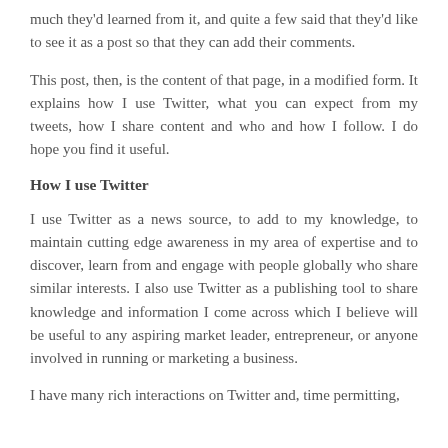much they'd learned from it, and quite a few said that they'd like to see it as a post so that they can add their comments.
This post, then, is the content of that page, in a modified form. It explains how I use Twitter, what you can expect from my tweets, how I share content and who and how I follow. I do hope you find it useful.
How I use Twitter
I use Twitter as a news source, to add to my knowledge, to maintain cutting edge awareness in my area of expertise and to discover, learn from and engage with people globally who share similar interests. I also use Twitter as a publishing tool to share knowledge and information I come across which I believe will be useful to any aspiring market leader, entrepreneur, or anyone involved in running or marketing a business.
I have many rich interactions on Twitter and, time permitting,